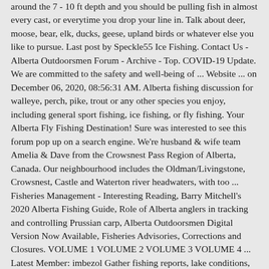around the 7 - 10 ft depth and you should be pulling fish in almost every cast, or everytime you drop your line in. Talk about deer, moose, bear, elk, ducks, geese, upland birds or whatever else you like to pursue. Last post by Speckle55 Ice Fishing. Contact Us - Alberta Outdoorsmen Forum - Archive - Top. COVID-19 Update. We are committed to the safety and well-being of ... Website ... on December 06, 2020, 08:56:31 AM. Alberta fishing discussion for walleye, perch, pike, trout or any other species you enjoy, including general sport fishing, ice fishing, or fly fishing. Your Alberta Fly Fishing Destination! Sure was interested to see this forum pop up on a search engine. We're husband & wife team Amelia & Dave from the Crowsnest Pass Region of Alberta, Canada. Our neighbourhood includes the Oldman/Livingstone, Crowsnest, Castle and Waterton river headwaters, with too ... Fisheries Management - Interesting Reading, Barry Mitchell's 2020 Alberta Fishing Guide, Role of Alberta anglers in tracking and controlling Prussian carp, Alberta Outdoorsmen Digital Version Now Available, Fisheries Advisories, Corrections and Closures. VOLUME 1 VOLUME 2 VOLUME 3 VOLUME 4 ... Latest Member: imbezol Gather fishing reports, lake conditions, ice fishing safety, conditions and weather info. Seek for the latest fishing updates, participate in the latest hot topics, or ... Find information about hunting in Alberta, including regulations, hunter harvest reports, how to apply